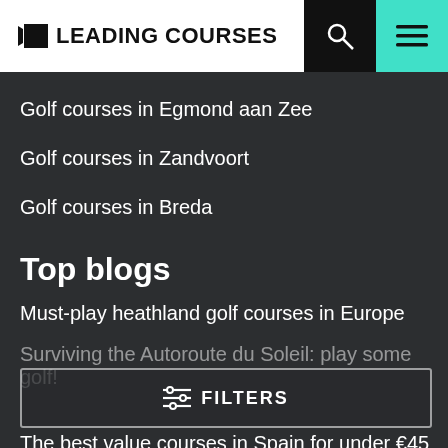LEADING COURSES
Golf courses in Egmond aan Zee
Golf courses in Zandvoort
Golf courses in Breda
Top blogs
Must-play heathland golf courses in Europe
Surviving the Autoroute du Soleil: play some golf!
The best value courses in Spain for under €45